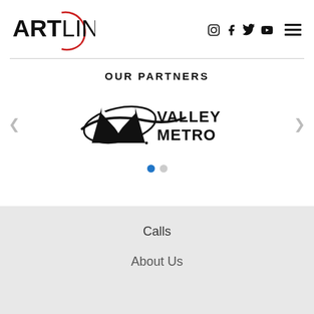[Figure (logo): ArtLink logo with bold ART text and circular red arc around LINK text, plus social media icons (Instagram, Facebook, Twitter, YouTube) and hamburger menu]
OUR PARTNERS
[Figure (logo): Valley Metro logo with stylized M and orbital arc, text VALLEY METRO in bold black]
[Figure (other): Carousel dot indicator - one filled blue circle]
Calls
About Us